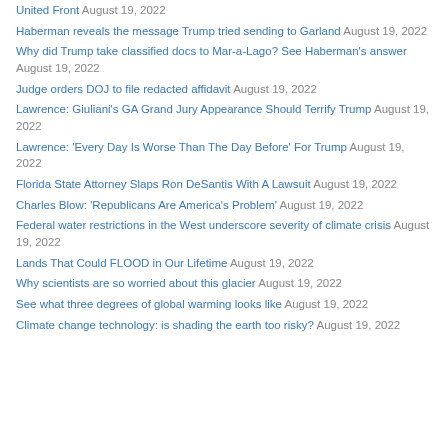United Front August 19, 2022
Haberman reveals the message Trump tried sending to Garland August 19, 2022
Why did Trump take classified docs to Mar-a-Lago? See Haberman's answer August 19, 2022
Judge orders DOJ to file redacted affidavit August 19, 2022
Lawrence: Giuliani's GA Grand Jury Appearance Should Terrify Trump August 19, 2022
Lawrence: 'Every Day Is Worse Than The Day Before' For Trump August 19, 2022
Florida State Attorney Slaps Ron DeSantis With A Lawsuit August 19, 2022
Charles Blow: 'Republicans Are America's Problem' August 19, 2022
Federal water restrictions in the West underscore severity of climate crisis August 19, 2022
Lands That Could FLOOD in Our Lifetime August 19, 2022
Why scientists are so worried about this glacier August 19, 2022
See what three degrees of global warming looks like August 19, 2022
Climate change technology: is shading the earth too risky? August 19, 2022